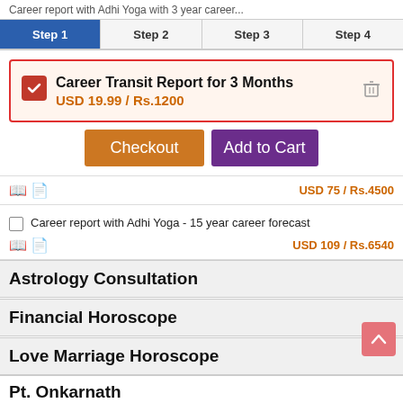Career report with Adhi Yoga with 3 year career...
Step 1  Step 2  Step 3  Step 4
Career Transit Report for 3 Months  USD 19.99 / Rs.1200
Checkout
Add to Cart
USD 75 / Rs.4500
Career report with Adhi Yoga - 15 year career forecast
USD 109 / Rs.6540
Astrology Consultation
Financial Horoscope
Love Marriage Horoscope
Pt. Onkarnath